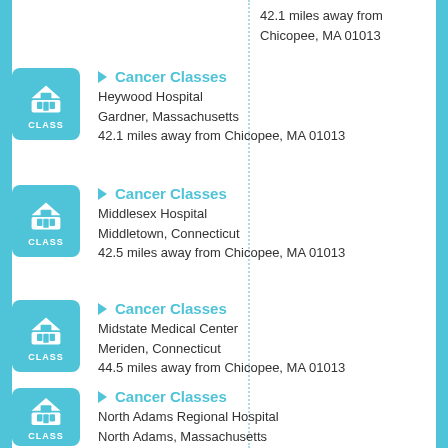42.1 miles away from Chicopee, MA 01013
Cancer Classes
Heywood Hospital
Gardner, Massachusetts
42.1 miles away from Chicopee, MA 01013
Cancer Classes
Middlesex Hospital
Middletown, Connecticut
42.5 miles away from Chicopee, MA 01013
Cancer Classes
Midstate Medical Center
Meriden, Connecticut
44.5 miles away from Chicopee, MA 01013
Cancer Classes
North Adams Regional Hospital
North Adams, Massachusetts